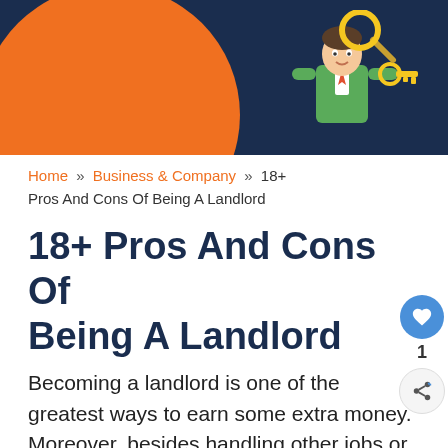[Figure (illustration): Dark navy blue header banner with an orange semicircle on the left and a landlord/real-estate icon (person with key) on the right]
Home » Business & Company » 18+ Pros And Cons Of Being A Landlord
18+ Pros And Cons Of Being A Landlord
Becoming a landlord is one of the greatest ways to earn some extra money. Moreover, besides handling other jobs or businesses, one can also be a landlord. This paper alone, with its